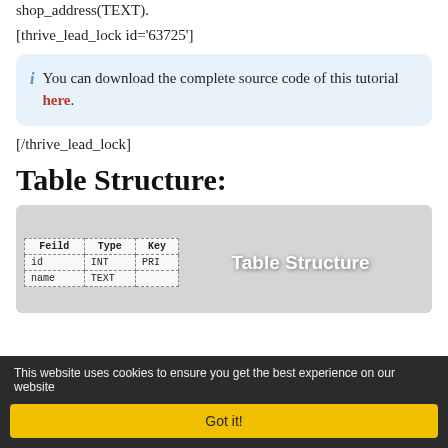shop_address(TEXT).
[thrive_lead_lock id='63725']
You can download the complete source code of this tutorial here.
[/thrive_lead_lock]
Table Structure:
[Figure (table-as-image): Database table structure image showing columns: Feild, Type, Key with rows: id INT PRI, name TEXT]
This website uses cookies to ensure you get the best experience on our website
Got it!